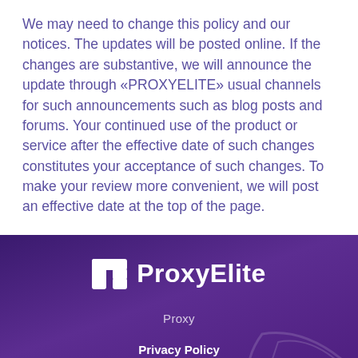We may need to change this policy and our notices. The updates will be posted online. If the changes are substantive, we will announce the update through «PROXYELITE» usual channels for such announcements such as blog posts and forums. Your continued use of the product or service after the effective date of such changes constitutes your acceptance of such changes. To make your review more convenient, we will post an effective date at the top of the page.
[Figure (logo): ProxyElite logo with stylized PE icon and brand name in white on purple background]
Proxy
Privacy Policy
Limitation of Liability
Financial information: FastServers EE OU